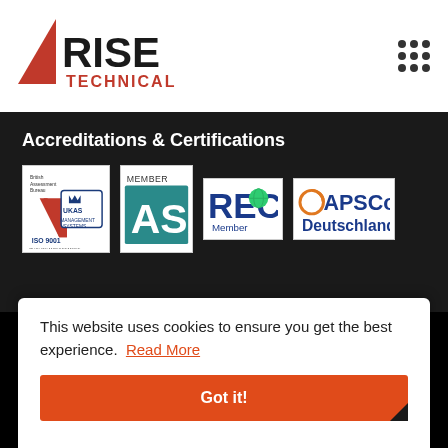[Figure (logo): Rise Technical logo with red triangle and black text RISE TECHNICAL]
[Figure (other): 3x3 grid of dots icon (menu/hamburger alternative)]
Accreditations & Certifications
[Figure (logo): British Assessment Bureau UKAS ISO 9001 Quality Management certification logo]
[Figure (logo): Member ASA (teal/blue square badge) logo]
[Figure (logo): REC Member logo]
[Figure (logo): APSCo Deutschland logo]
This website uses cookies to ensure you get the best experience. Read More
Got it!